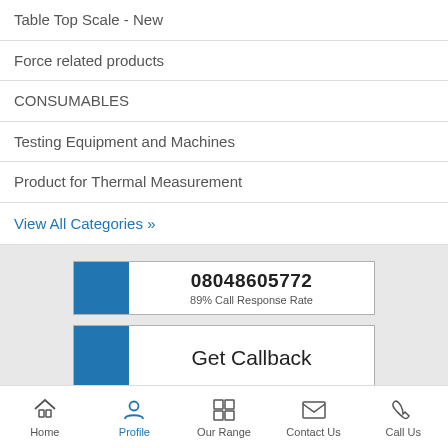Table Top Scale - New
Force related products
CONSUMABLES
Testing Equipment and Machines
Product for Thermal Measurement
View All Categories »
08048605772
89% Call Response Rate
Get Callback
Home | Profile | Our Range | Contact Us | Call Us